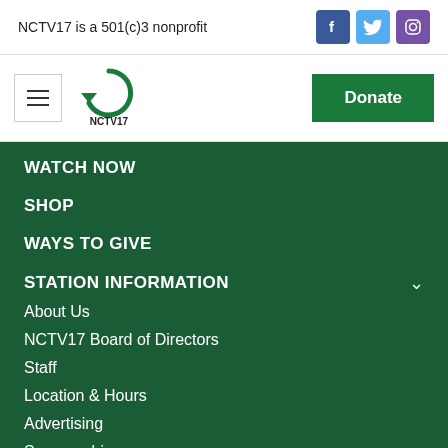NCTV17 is a 501(c)3 nonprofit
[Figure (logo): Facebook icon - blue square with white F]
[Figure (logo): Twitter icon - light blue square with white bird]
[Figure (logo): Instagram icon - purple square with white camera outline]
[Figure (logo): NCTV17 logo - green stylized circular arrow with NCTV17 text below]
Donate
WATCH NOW
SHOP
WAYS TO GIVE
STATION INFORMATION
About Us
NCTV17 Board of Directors
Staff
Location & Hours
Advertising
Sponsorship
Video Production